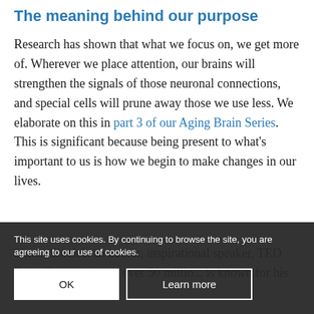The meaning behind our purpose
Research has shown that what we focus on, we get more of. Wherever we place attention, our brains will strengthen the signals of those neuronal connections, and special cells will prune away those we use less. We elaborate on this in part 3 of our Aging Brain Series. This is significant because being present to what's important to us is how we begin to make changes in our lives.
Simon Sinek is an author, inspirational speaker, TED Talk, H... action, has over 50 millio... is known for his concept of The Golden Circle, which illustrates
This site uses cookies. By continuing to browse the site, you are agreeing to our use of cookies.